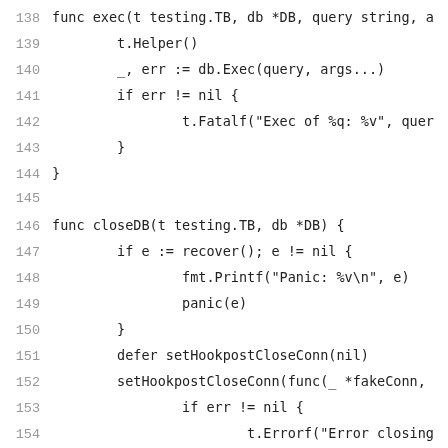[Figure (screenshot): Source code listing in Go language, lines 138-159, showing functions exec and closeDB with syntax highlighted in monospace font on white background.]